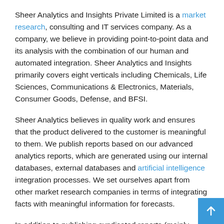Sheer Analytics and Insights Private Limited is a market research, consulting and IT services company. As a company, we believe in providing point-to-point data and its analysis with the combination of our human and automated integration. Sheer Analytics and Insights primarily covers eight verticals including Chemicals, Life Sciences, Communications & Electronics, Materials, Consumer Goods, Defense, and BFSI.
Sheer Analytics believes in quality work and ensures that the product delivered to the customer is meaningful to them. We publish reports based on our advanced analytics reports, which are generated using our internal databases, external databases and artificial intelligence integration processes. We set ourselves apart from other market research companies in terms of integrating facts with meaningful information for forecasts.
In addition to publishing syndicated reports (mainly client reports), we deal with projects mainly based on "market access strategy, data mining and mining", that is, full analysis Big D